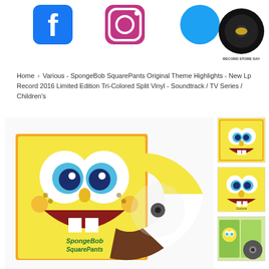[Figure (screenshot): Social media icons row: Facebook, Instagram, Twitter, and Record Store Day logo]
Home › Various - SpongeBob SquarePants Original Theme Highlights - New Lp Record 2016 Limited Edition Tri-Colored Split Vinyl - Soundtrack / TV Series / Children's
[Figure (photo): Main product image: SpongeBob SquarePants vinyl record with tri-colored split vinyl (yellow, white, brown) and album cover showing SpongeBob's face]
[Figure (photo): Thumbnail 1: Close-up of SpongeBob face on album cover]
[Figure (photo): Thumbnail 2: Close-up of SpongeBob face smiling]
[Figure (photo): Thumbnail 3: Open album with vinyl records and booklet]